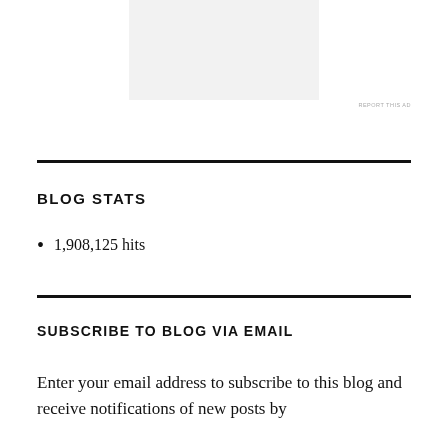[Figure (other): Advertisement placeholder block, light gray rectangle]
REPORT THIS AD
BLOG STATS
1,908,125 hits
SUBSCRIBE TO BLOG VIA EMAIL
Enter your email address to subscribe to this blog and receive notifications of new posts by